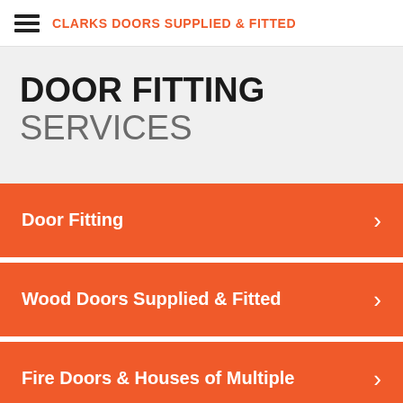CLARKS DOORS SUPPLIED & FITTED
DOOR FITTING SERVICES
Door Fitting
Wood Doors Supplied & Fitted
Fire Doors & Houses of Multiple